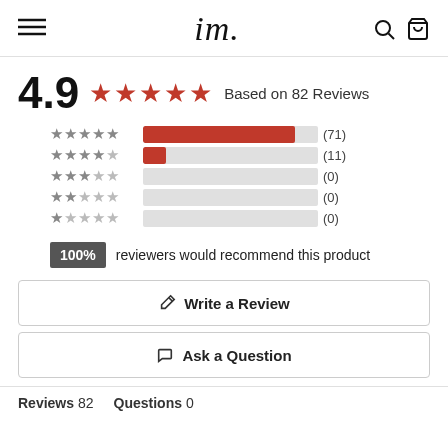im. (logo with search and cart icons)
4.9 ★★★★★ Based on 82 Reviews
[Figure (bar-chart): Rating distribution]
100% reviewers would recommend this product
✎ Write a Review
💬 Ask a Question
Reviews  82    Questions  0